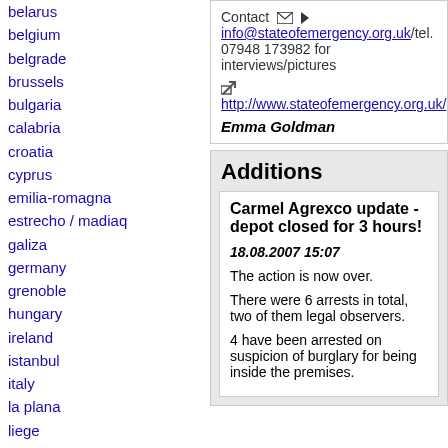belarus
belgium
belgrade
brussels
bulgaria
calabria
croatia
cyprus
emilia-romagna
estrecho / madiaq
galiza
germany
grenoble
hungary
ireland
istanbul
italy
la plana
liege
liguria
lille
linksunten
lombardia
madrid
malta
marseille
Contact info@stateofemergency.org.uk/tel. 07948 173982 for interviews/pictures
http://www.stateofemergency.org.uk/
Emma Goldman
Additions
Carmel Agrexco update - depot closed for 3 hours!
18.08.2007 15:07
The action is now over.
There were 6 arrests in total, two of them legal observers.
4 have been arrested on suspicion of burglary for being inside the premises.